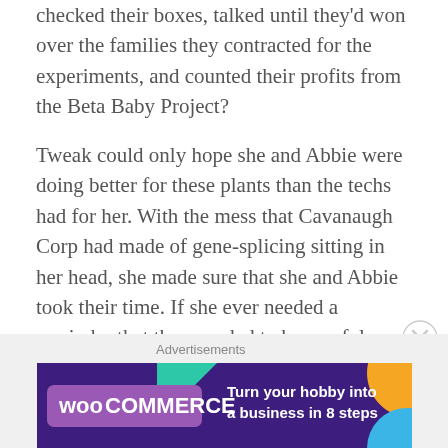checked their boxes, talked until they'd won over the families they contracted for the experiments, and counted their profits from the Beta Baby Project?
Tweak could only hope she and Abbie were doing better for these plants than the techs had for her. With the mess that Cavanaugh Corp had made of gene-splicing sitting in her head, she made sure that she and Abbie took their time. If she ever needed a reminder that they needed to be careful as they adjusted the genetic codes of these plants, she just glanced down at her arms. Scaled arms. She didn't hate her scales — well, not anymore, anyway — but she couldn't forget them. That was for sure.
[Figure (other): WooCommerce advertisement banner: dark purple background with teal and orange geometric shapes, WooCommerce logo on left, text 'Turn your hobby into a business in 8 steps' on right]